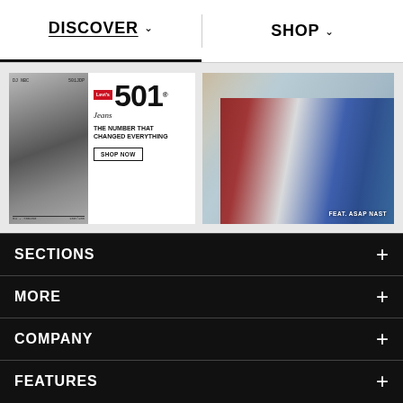DISCOVER   SHOP
[Figure (photo): Levi's 501 Jeans advertisement with black and white photo, red Levi's logo box, '501 Jeans' text, tagline 'The number that changed everything', and 'SHOP NOW' button]
[Figure (photo): Fashion photo of man in Levi's jeans and red jacket reclining, with text 'FEAT. ASAP NAST']
SECTIONS +
MORE +
COMPANY +
FEATURES +